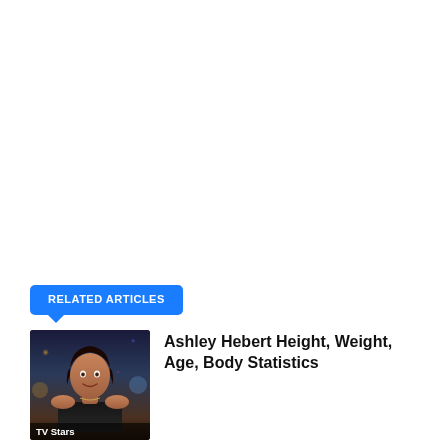RELATED ARTICLES
[Figure (photo): Photo of Ashley Hebert, a woman in a black off-shoulder outfit, with a TV Stars label at the bottom of the image]
Ashley Hebert Height, Weight, Age, Body Statistics